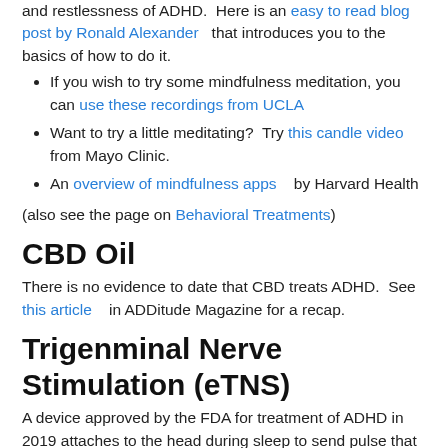and restlessness of ADHD.  Here is an easy to read blog post by Ronald Alexander  that introduces you to the basics of how to do it.
If you wish to try some mindfulness meditation, you can use these recordings from UCLA
Want to try a little meditating?  Try this candle video from Mayo Clinic.
An overview of mindfulness apps   by Harvard Health
(also see the page on Behavioral Treatments)
CBD Oil
There is no evidence to date that CBD treats ADHD.  See this article   in ADDitude Magazine for a recap.
Trigenminal Nerve Stimulation (eTNS)
A device approved by the FDA for treatment of ADHD in 2019 attaches to the head during sleep to send pulse that